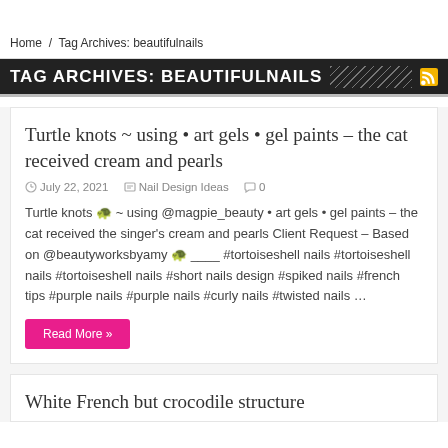Home / Tag Archives: beautifulnails
TAG ARCHIVES: BEAUTIFULNAILS
Turtle knots ~ using • art gels • gel paints – the cat received cream and pearls
July 22, 2021   Nail Design Ideas   0
Turtle knots 🐢 ~ using @magpie_beauty • art gels • gel paints – the cat received the singer's cream and pearls Client Request – Based on @beautyworksbyamy 🐢 ____ #tortoiseshell nails #tortoiseshell nails #tortoiseshell nails #short nails design #spiked nails #french tips #purple nails #purple nails #curly nails #twisted nails …
Read More »
White French but crocodile structure